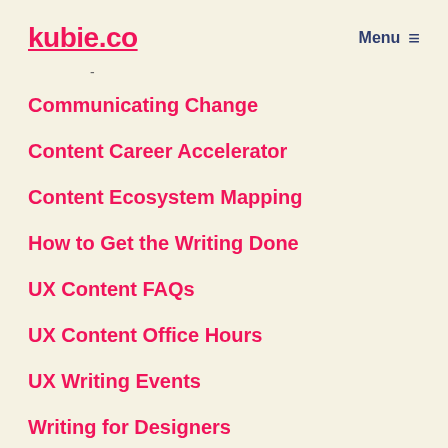kubie.co  Menu ☰
Communicating Change
Content Career Accelerator
Content Ecosystem Mapping
How to Get the Writing Done
UX Content FAQs
UX Content Office Hours
UX Writing Events
Writing for Designers